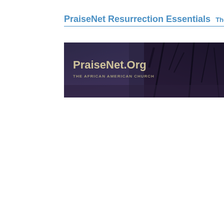PraiseNet Resurrection Essentials   The White
[Figure (photo): PraiseNet.Org banner image showing dark purple/blue tones with thorny branches and the text 'PraiseNet.Org' and 'THE AFRICAN AMERICAN CHURCH' overlaid on the left side.]